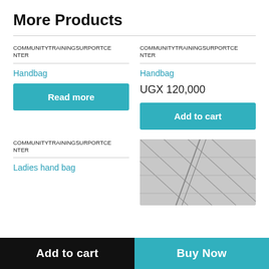More Products
COMMUNITYTRAININGSURPORTCENTER
Handbag
Read more
COMMUNITYTRAININGSURPORTCENTER
Handbag
UGX 120,000
Add to cart
COMMUNITYTRAININGSURPORTCENTER
Ladies hand bag
[Figure (photo): Close-up photo of grey quilted fabric or bag material with diagonal seam lines]
Add to cart
Buy Now